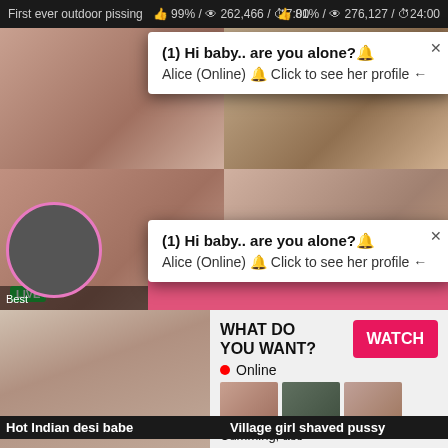First ever outdoor pissing   99% / 262,466 / 7:00   Desi savita indian girl first   81% / 276,127 / 24:00
[Figure (screenshot): Popup notification overlay on adult video website. First popup: '(1) Hi baby.. are you alone?🔔 Alice (Online) 🔔 Click to see her profile ←'. Second popup: same text repeated. Pink bar showing 'Jeniffer 2000 (00:12)🔔'. LIVE badge visible. Bottom ad: 'WHAT DO YOU WANT? WATCH button. Online. Cumming, ass fucking, squirt or... ADS'.]
(1) Hi baby.. are you alone?🔔
Alice (Online) 🔔 Click to see her profile ←
(1) Hi baby.. are you alone?🔔
Alice (Online) 🔔 Click to see her profile ←
Jeniffer 2000 (00:12)🔔
WHAT DO YOU WANT?
WATCH
• Online
Cumming, ass fucking, squirt or...
• ADS
Hot Indian desi babe
Village girl shaved pussy